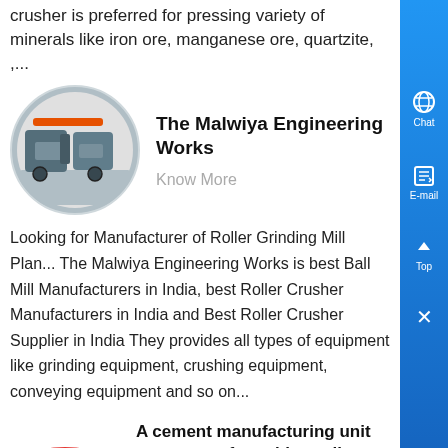crusher is preferred for pressing variety of minerals like iron ore, manganese ore, quartzite, ,...
[Figure (photo): Oval/elliptical shaped photo of industrial roller crusher machine inside a factory/warehouse]
The Malwiya Engineering Works
Know More
Looking for Manufacturer of Roller Grinding Mill Plan... The Malwiya Engineering Works is best Ball Mill Manufacturers in India, best Roller Crusher Manufacturers in India and Best Roller Crusher Supplier in India They provides all types of equipment like grinding equipment, crushing equipment, conveying equipment and so on...
[Figure (photo): Photo of colorful crushing rolls/rings used in cement manufacturing]
A cement manufacturing unit us... a set of crushing rolls ,
Know More